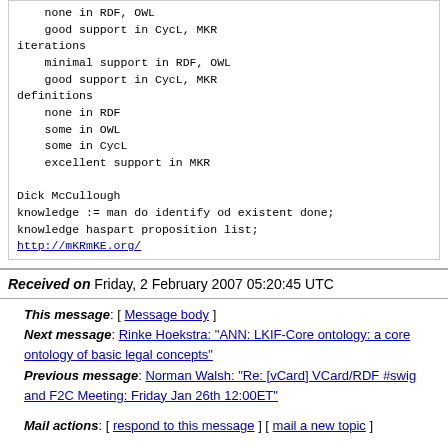none in RDF, OWL
    good support in CycL, MKR
iterations
    minimal support in RDF, OWL
    good support in CycL, MKR
definitions
    none in RDF
    some in OWL
    some in CycL
    excellent support in MKR

Dick McCullough
knowledge := man do identify od existent done;
knowledge haspart proposition list;
http://mKRmKE.org/
Received on Friday, 2 February 2007 05:20:45 UTC
This message: [ Message body ]
Next message: Rinke Hoekstra: "ANN: LKIF-Core ontology: a core ontology of basic legal concepts"
Previous message: Norman Walsh: "Re: [vCard] VCard/RDF #swig and F2C Meeting: Friday Jan 26th 12:00ET"
Mail actions: [ respond to this message ] [ mail a new topic ]